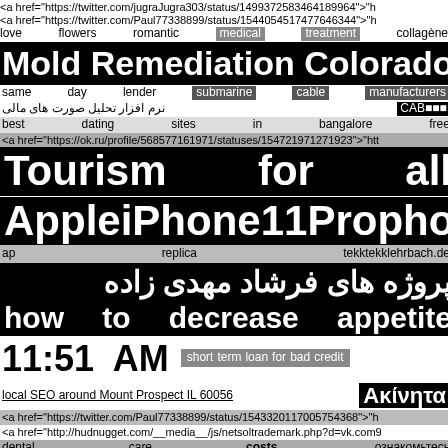<a href="https://twitter.com/jugraJugra303/status/1499372583464189964">"h
<a href="https://twitter.com/Paul77338899/status/1544054517477646344">"h
love    flowers    romantic    medical    treatment    collagène
Mold Remediation Colorado Springs
same    day    lender    submarine    cable    manufacturers
نرم افزار تحلیل صورت های مالی    CAB■■■
best    dating    sites    in    bangalore    free
<a href="https://ok.ru/profile/568577161971/statuses/154721971271923">"htt
Tourism    for    all
Apple iPhone 11 Pro phone case
ap          replica          tekktekklehrbach.de
پروژه های فرشاد مهدی زاده
how    to    decrease    appetite
11:51  AM    short  term  loan  for  bad  credit
local SEO around Mount Prospect IL 60056    Ακίνητα
<a href="https://twitter.com/Paul77338899/status/1543320117005754368">"h
<a href="http://hudnugget.com/__media__/js/netsoltrademark.php?d=vk.com9
dental          care          costs.    ознакомьтесь
<a href="http://garrettqgtfp.blogacep.com/5428814/new-step-by-step-map-for-
<a href="http://shreveportwills.com/__media__/js/netsoltrademark.php?d=vk.c
■■■■■■
<a href="http://mail.megainf.ru/user/CC